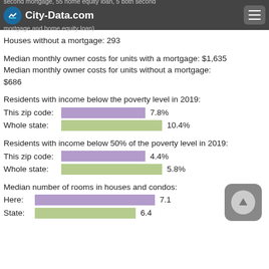second mortgage, 55 home equity loan, 5 both second mortgage and home equity loan)
Houses without a mortgage: 293
Median monthly owner costs for units with a mortgage: $1,635
Median monthly owner costs for units without a mortgage: $686
Residents with income below the poverty level in 2019:
This zip code: 7.8%
Whole state: 10.4%
Residents with income below 50% of the poverty level in 2019:
This zip code: 4.4%
Whole state: 5.8%
Median number of rooms in houses and condos:
Here: 7.1
State: 6.4